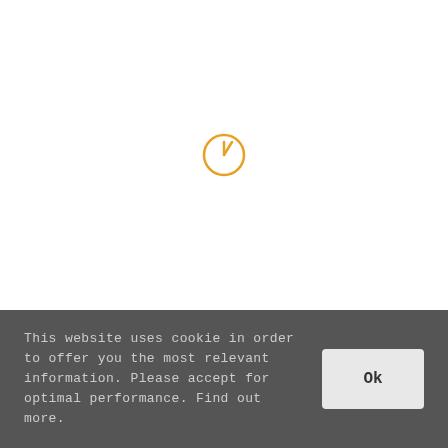[Figure (other): A yellow/orange circular clock or timer icon with a thin line indicating a hand pointing to approximately 1 o'clock position, centered in the upper white area of the page]
This website uses cookie in order to offer you the most relevant information. Please accept for optimal performance. Find out more.